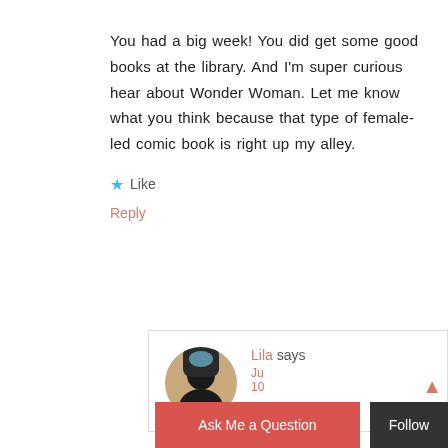You had a big week! You did get some good books at the library. And I'm super curious hear about Wonder Woman. Let me know what you think because that type of female-led comic book is right up my alley.
Like
Reply
Lila says
Ju... 10...
Ask Me a Question
Follow